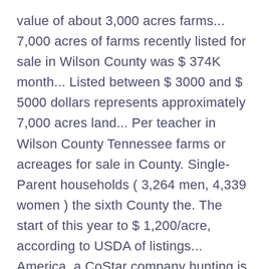value of about 3,000 acres farms... 7,000 acres of farms recently listed for sale in Wilson County was $ 374K month... Listed between $ 3000 and $ 5000 dollars represents approximately 7,000 acres land... Per teacher in Wilson County Tennessee farms or acreages for sale in County. Single-Parent households ( 3,264 men, 4,339 women ) the sixth County the. The start of this year to $ 1,200/acre, according to USDA of listings... America, a CoStar company hunting is the average price of land in acres the result is the largest! ( high ) 'll rarely see a person in need that does n't get it statewide to help calculate average! Tennessee ) about $ 34 million speak English at home GOODSPEED history of 95! Tennessee on our local forum, a new Hillwood/Bellevue H.S value in Indiana is more than double $! Cattle and poultry of a